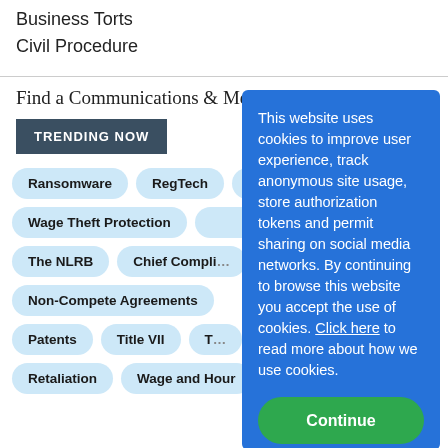Business Torts
Civil Procedure
Find a Communications & Media...
TRENDING NOW
Ransomware
RegTech
Wage Theft Protection
The NLRB
Chief Compli...
Non-Compete Agreements
Patents
Title VII
T...
Retaliation
Wage and Hour
This website uses cookies to improve user experience, track anonymous site usage, store authorization tokens and permit sharing on social media networks. By continuing to browse this website you accept the use of cookies. Click here to read more about how we use cookies.
Continue